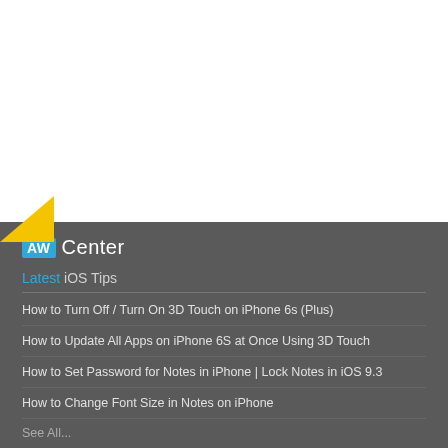[Figure (logo): AW Center logo with yellow triangle accent on dark background]
Latest iOS Tips
How to Turn Off / Turn On 3D Touch on iPhone 6s (Plus)
How to Update All Apps on iPhone 6S at Once Using 3D Touch
How to Set Password for Notes in iPhone | Lock Notes in iOS 9.3
How to Change Font Size in Notes on iPhone
See All...